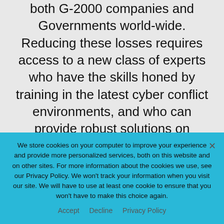both G-2000 companies and Governments world-wide. Reducing these losses requires access to a new class of experts who have the skills honed by training in the latest cyber conflict environments, and who can provide robust solutions on production tools, systems, and controls. Training students and learners to dramatically increase
We store cookies on your computer to improve your experience and provide more personalized services, both on this website and on other sites. For more information about the cookies we use, see our Privacy Policy. We won't track your information when you visit our site. We will have to use at least one cookie to ensure that you won't have to make this choice again.
Accept   Decline   Privacy Policy